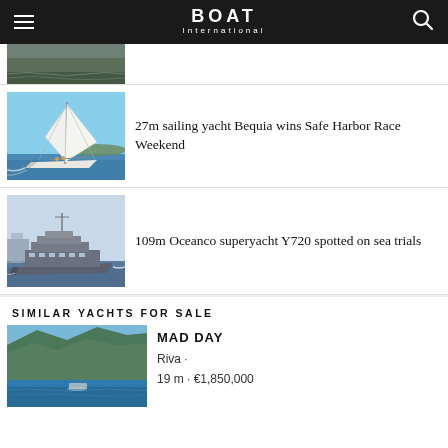BOAT International
[Figure (photo): Partial view of a boat on water, cropped at top of page]
[Figure (photo): 27m sailing yacht Bequia under sail on open water with crew visible]
27m sailing yacht Bequia wins Safe Harbor Race Weekend
[Figure (photo): 109m Oceanco superyacht Y720 on sea trials in a harbour]
109m Oceanco superyacht Y720 spotted on sea trials
SIMILAR YACHTS FOR SALE
[Figure (photo): Yacht Mad Day by Riva on blue water with mountains behind]
MAD DAY
Riva ·
19 m · €1,850,000